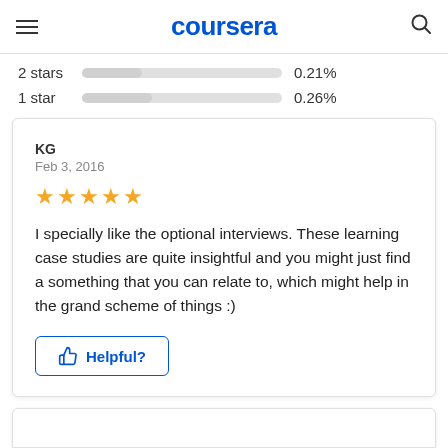coursera
2 stars  0.21%
1 star  0.26%
KG
Feb 3, 2016
★★★★★
I specially like the optional interviews. These learning case studies are quite insightful and you might just find a something that you can relate to, which might help in the grand scheme of things :)
Helpful?